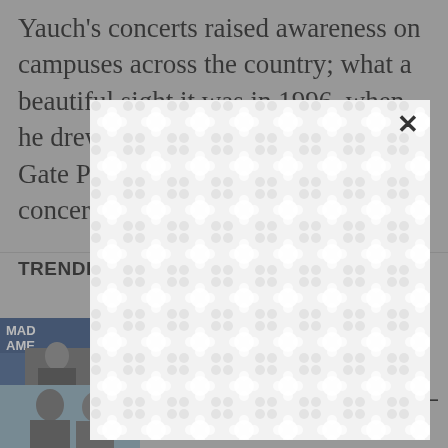Yauch's concerts raised awareness on campuses across the country; what a beautiful sight it was in 1996, when he drew 100,000 people to Golden Gate Park in San Francisco for a concert to benefit
TRENDING
[Figure (photo): Thumbnail showing a man speaking in front of a 'MADE IN AMERICA' banner backdrop]
speech, but says not all supporters of former president fit that bill
[Figure (photo): Thumbnail showing two men in black and white photo]
Secret weapons and superpowers — Congressional Hits and Misses
[Figure (other): Modal dialog overlay with a repeating squircle/blob pattern in white and light gray, with a close (X) button in the upper right corner]